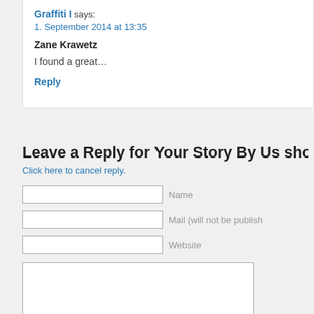Graffiti I says: 1. September 2014 at 13:35
Zane Krawetz
I found a great…
Reply
Leave a Reply for Your Story By Us shoo
Click here to cancel reply.
Name
Mail (will not be publish
Website